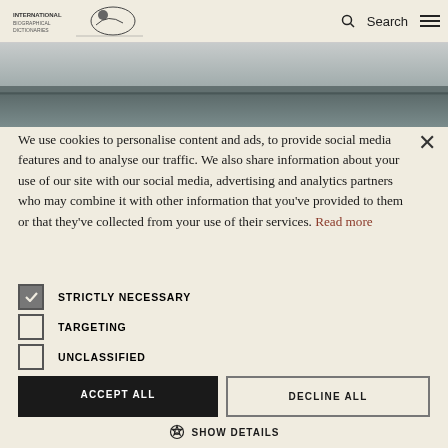Search [menu]
[Figure (photo): Black and white landscape photo showing a misty seascape or flat horizon with dark water or land and cloudy sky]
We use cookies to personalise content and ads, to provide social media features and to analyse our traffic. We also share information about your use of our site with our social media, advertising and analytics partners who may combine it with other information that you've provided to them or that they've collected from your use of their services. Read more
STRICTLY NECESSARY (checked)
TARGETING (unchecked)
UNCLASSIFIED (unchecked)
ACCEPT ALL | DECLINE ALL
SHOW DETAILS